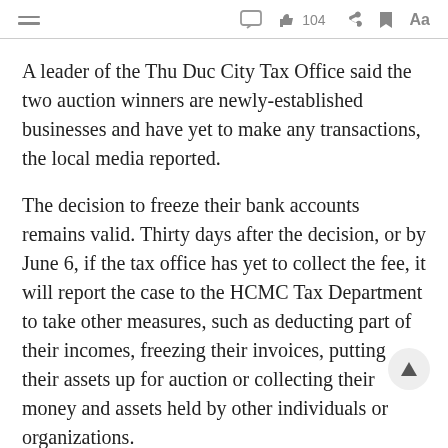≡  [comment icon]  👍 104  [share icon]  [bookmark icon]  Aa
A leader of the Thu Duc City Tax Office said the two auction winners are newly-established businesses and have yet to make any transactions, the local media reported.
The decision to freeze their bank accounts remains valid. Thirty days after the decision, or by June 6, if the tax office has yet to collect the fee, it will report the case to the HCMC Tax Department to take other measures, such as deducting part of their incomes, freezing their invoices, putting their assets up for auction or collecting their money and assets held by other individuals or organizations.
If they still fail to pay the fee, the HCMC Tax